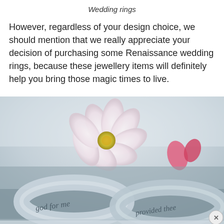Wedding rings
However, regardless of your design choice, we should mention that we really appreciate your decision of purchasing some Renaissance wedding rings, because these jewellery items will definitely help you bring those magic times to live.
[Figure (photo): Two silver wedding rings engraved with text reading 'god for me' and 'provided thee', resting in front of a white flower with pink center and a pink bow, on a light grey background.]